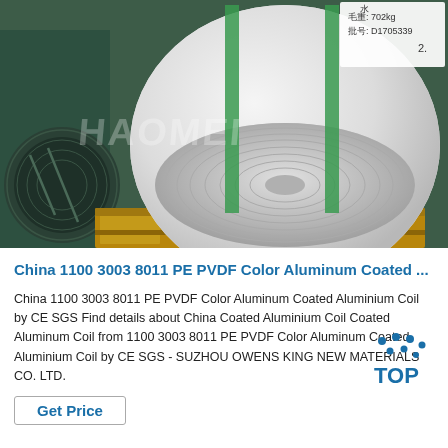[Figure (photo): Photo of a large aluminum coil wrapped in white protective paper with green straps, sitting on a wooden pallet in a warehouse. Chinese handwritten text visible on the wrapping. A dark green painted metal surface visible on the left. Watermark text 'HAOMEI' overlaid on the image.]
China 1100 3003 8011 PE PVDF Color Aluminum Coated ...
China 1100 3003 8011 PE PVDF Color Aluminum Coated Aluminium Coil by CE SGS Find details about China Coated Aluminium Coil Coated Aluminum Coil from 1100 3003 8011 PE PVDF Color Aluminum Coated Aluminium Coil by CE SGS - SUZHOU OWENS KING NEW MATERIALS CO. LTD.
Get Price